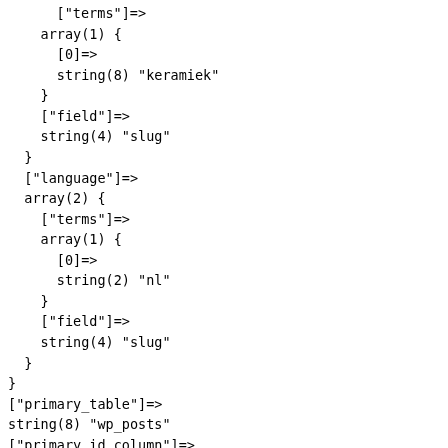[ terms ]=>
    array(1) {
      [0]=>
      string(8) "keramiek"
    }
    ["field"]=>
    string(4) "slug"
  }
  ["language"]=>
  array(2) {
    ["terms"]=>
    array(1) {
      [0]=>
      string(2) "nl"
    }
    ["field"]=>
    string(4) "slug"
  }
}
["primary_table"]=>
string(8) "wp_posts"
["primary_id_column"]=>
string(2) "ID"
}
["meta_query"]=>
object(WP_Meta_Query)#12279 (9) {
  ["queries"]=>
  array(0) {
  }
  ["relation"]=>
  NULL